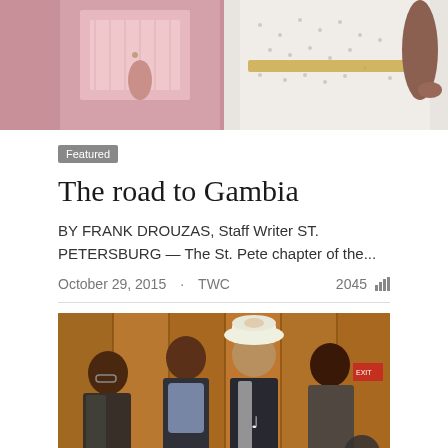[Figure (photo): Top cropped photo showing two people from the torso down, one in a pink outfit and one in a white dotted dress]
Featured
The road to Gambia
BY FRANK DROUZAS, Staff Writer ST. PETERSBURG — The St. Pete chapter of the...
October 29, 2015 · TWC  2045
[Figure (photo): Photo of four people posing together indoors: three women and one man wearing a white hat, standing in front of wooden paneled wall]